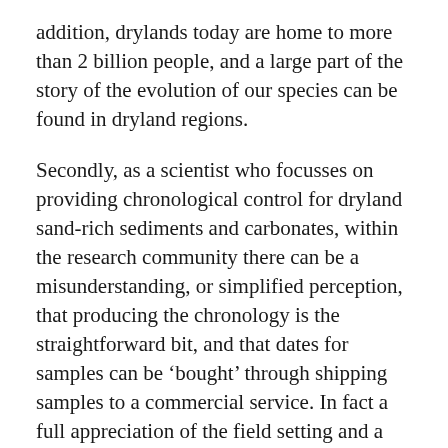addition, drylands today are home to more than 2 billion people, and a large part of the story of the evolution of our species can be found in dryland regions.
Secondly, as a scientist who focusses on providing chronological control for dryland sand-rich sediments and carbonates, within the research community there can be a misunderstanding, or simplified perception, that producing the chronology is the straightforward bit, and that dates for samples can be 'bought' through shipping samples to a commercial service. In fact a full appreciation of the field setting and a full appreciation of the intricacies and limitations of the chronological